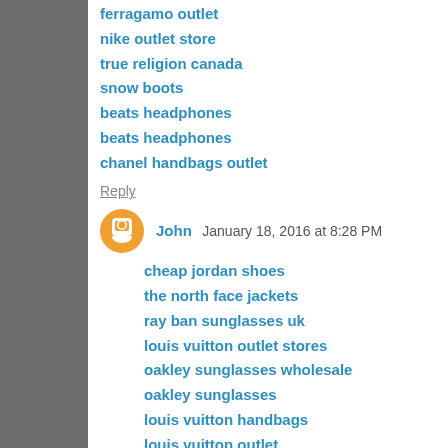ferragamo outlet
nike outlet store
true religion canada
snow boots
beats headphones
beats headphones
chanel handbags outlet
Reply
John  January 18, 2016 at 8:28 PM
cheap jordan shoes
the north face jackets
ray ban sunglasses uk
louis vuitton outlet stores
oakley sunglasses wholesale
oakley sunglasses
louis vuitton handbags
louis vuitton outlet
nike huarache
coach factory outlet